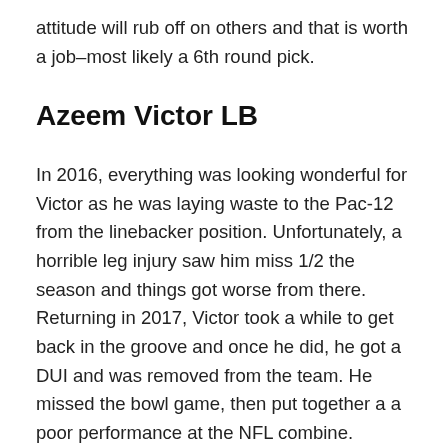attitude will rub off on others and that is worth a job–most likely a 6th round pick.
Azeem Victor LB
In 2016, everything was looking wonderful for Victor as he was laying waste to the Pac-12 from the linebacker position. Unfortunately, a horrible leg injury saw him miss 1/2 the season and things got worse from there. Returning in 2017, Victor took a while to get back in the groove and once he did, he got a DUI and was removed from the team. He missed the bowl game, then put together a a poor performance at the NFL combine.
Victor has an uncanny ability to read and diagnose